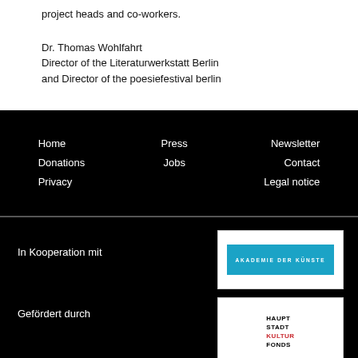project heads and co-workers.

Dr. Thomas Wohlfahrt
Director of the Literaturwerkstatt Berlin
and Director of the poesiefestival berlin
Home
Donations
Privacy
Press
Jobs
Newsletter
Contact
Legal notice
In Kooperation mit
[Figure (logo): Akademie der Künste logo: blue rectangle with white text 'AKADEMIE DER KÜNSTE']
Gefördert durch
[Figure (logo): Hauptstadtkulturfonds logo: stacked text HAUPT STADT KULTUR FONDS with KULTUR in red]